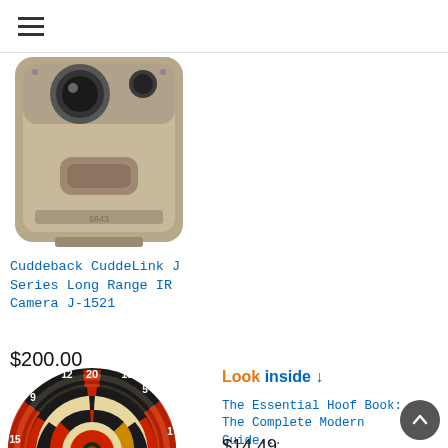Navigation menu icon (hamburger)
[Figure (photo): Cuddeback trail camera, tan/beige colored, front view showing lens and motion sensor]
Cuddeback CuddeLink J Series Long Range IR Camera J-1521
$200.00
[Figure (photo): Dartboard showing numbered sections 1-20, red and black sections, yellow/gold scoring rings, dark border]
Look inside ↓
The Essential Hoof Book: The Complete Modern Guide...
$14.49